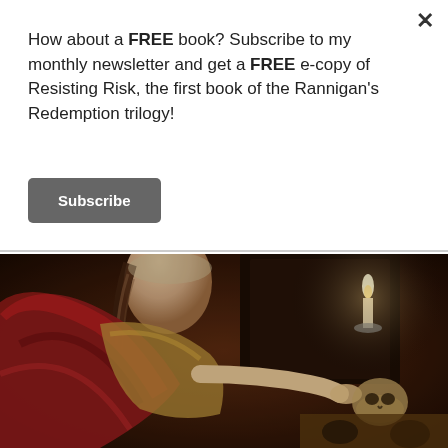How about a FREE book? Subscribe to my monthly newsletter and get a FREE e-copy of Resisting Risk, the first book of the Rannigan's Redemption trilogy!
Subscribe
[Figure (illustration): A classical painting depicting a woman in a red dress with a braided hairstyle, reaching toward a skull and other objects on a table, with a lit candle in the background — reminiscent of a Vanitas or Baroque-era artwork.]